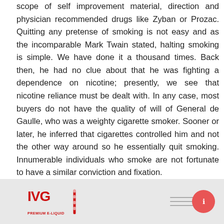scope of self improvement material, direction and physician recommended drugs like Zyban or Prozac. Quitting any pretense of smoking is not easy and as the incomparable Mark Twain stated, halting smoking is simple. We have done it a thousand times. Back then, he had no clue about that he was fighting a dependence on nicotine; presently, we see that nicotine reliance must be dealt with. In any case, most buyers do not have the quality of will of General de Gaulle, who was a weighty cigarette smoker. Sooner or later, he inferred that cigarettes controlled him and not the other way around so he essentially quit smoking. Innumerable individuals who smoke are not fortunate to have a similar conviction and fixation.
[Figure (photo): Bottom strip showing IVG logo in red bold text with a small candy graphic icon on the left, horizontal grey lines in the center-right, and a red circular button with an arrow icon on the far right.]